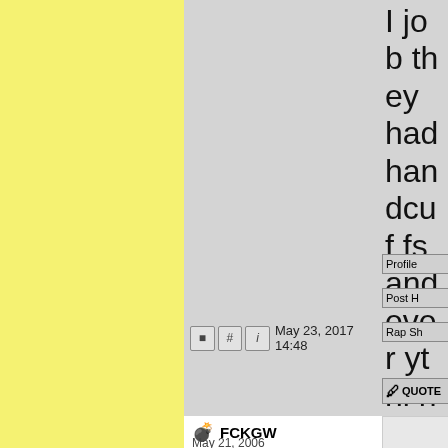I job they had handcuffs and everything.
May 23, 2017 14:48
Profile
Post H
Rap Sh
QUOTE
FCKGW
May 21, 2006